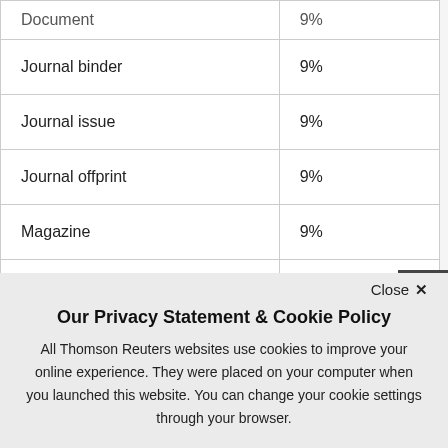| Document type | VAT rate |
| --- | --- |
| Document | 9% |
| Journal binder | 9% |
| Journal issue | 9% |
| Journal offprint | 9% |
| Magazine | 9% |
| Newsletter (partial) | 9% (partial) |
Close ✕
Our Privacy Statement & Cookie Policy
All Thomson Reuters websites use cookies to improve your online experience. They were placed on your computer when you launched this website. You can change your cookie settings through your browser.